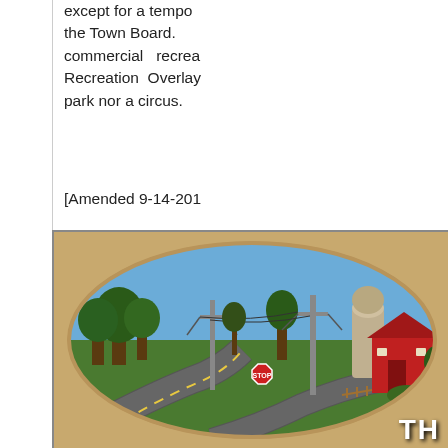except for a temporary use permit issued by the Town Board. Note: Certain commercial recreational uses and Recreation Overlay uses are neither a park nor a circus.
[Amended 9-14-201
[Figure (photo): Oval-framed photograph of a rural farm scene with a winding road, red barn, grain silo, utility poles, and trees, set against a tan/wood-grain background. The word 'TH' is partially visible in white bold text at the bottom right corner.]